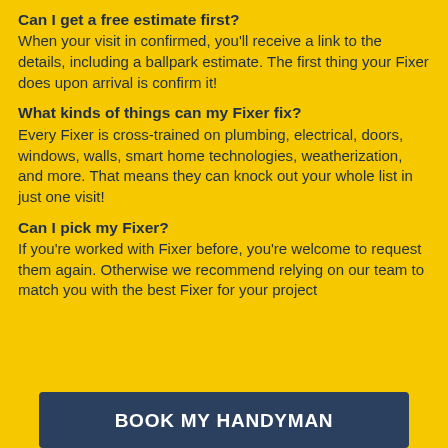Can I get a free estimate first?
When your visit in confirmed, you'll receive a link to the details, including a ballpark estimate. The first thing your Fixer does upon arrival is confirm it!
What kinds of things can my Fixer fix?
Every Fixer is cross-trained on plumbing, electrical, doors, windows, walls, smart home technologies, weatherization, and more. That means they can knock out your whole list in just one visit!
Can I pick my Fixer?
If you're worked with Fixer before, you're welcome to request them again. Otherwise we recommend relying on our team to match you with the best Fixer for your project
BOOK MY HANDYMAN